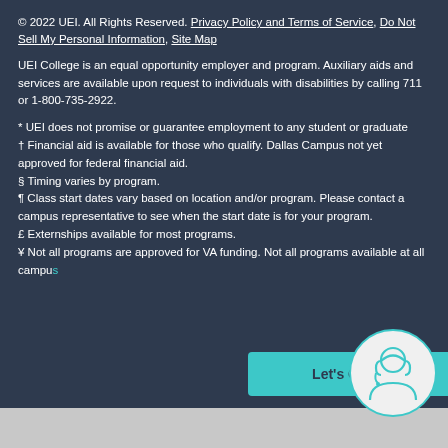© 2022 UEI. All Rights Reserved. Privacy Policy and Terms of Service, Do Not Sell My Personal Information, Site Map
UEI College is an equal opportunity employer and program. Auxiliary aids and services are available upon request to individuals with disabilities by calling 711 or 1-800-735-2922.
* UEI does not promise or guarantee employment to any student or graduate
† Financial aid is available for those who qualify. Dallas Campus not yet approved for federal financial aid.
§ Timing varies by program.
¶ Class start dates vary based on location and/or program. Please contact a campus representative to see when the start date is for your program.
£ Externships available for most programs.
¥ Not all programs are approved for VA funding. Not all programs available at all campuses.
[Figure (other): Let's Chat button with headset icon in teal/cyan color]